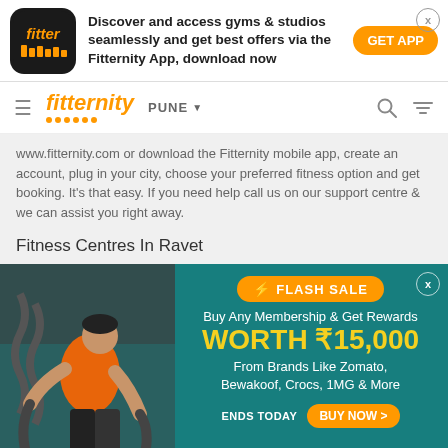[Figure (screenshot): Fitternity app promotional banner with logo, tagline and GET APP button]
fitternity | PUNE
www.fitternity.com or download the Fitternity mobile app, create an account, plug in your city, choose your preferred fitness option and get booking. It's that easy. If you need help call us on our support centre & we can assist you right away.
Fitness Centres In Ravet
[Figure (infographic): Flash Sale promotional banner: Buy Any Membership & Get Rewards WORTH ₹15,000 From Brands Like Zomato, Bewakoof, Crocs, 1MG & More. ENDS TODAY BUY NOW >]